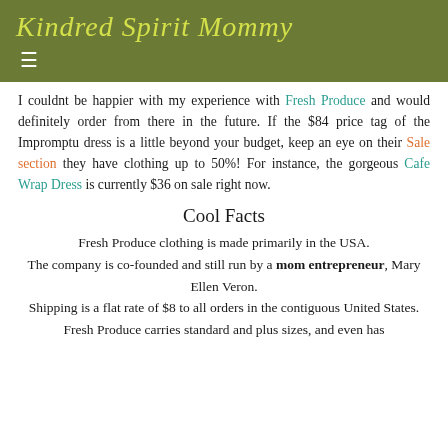Kindred Spirit Mommy
I couldnt be happier with my experience with Fresh Produce and would definitely order from there in the future. If the $84 price tag of the Impromptu dress is a little beyond your budget, keep an eye on their Sale section they have clothing up to 50%! For instance, the gorgeous Cafe Wrap Dress is currently $36 on sale right now.
Cool Facts
Fresh Produce clothing is made primarily in the USA.
The company is co-founded and still run by a mom entrepreneur, Mary Ellen Veron.
Shipping is a flat rate of $8 to all orders in the contiguous United States.
Fresh Produce carries standard and plus sizes, and even has